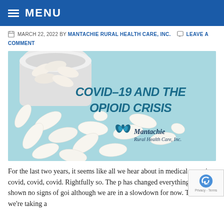MENU
MARCH 22, 2022 BY MANTACHIE RURAL HEALTH CARE, INC.   LEAVE A COMMENT
[Figure (photo): White pills and capsules scattered on a light blue background next to a pill bottle, with text 'COVID-19 AND THE OPIOID CRISIS' and the Mantachie Rural Health Care, Inc. logo]
For the last two years, it seems like all we hear about in medical news is covid, covid, covid. Rightfully so. The p has changed everything, and it's shown no signs of goi although we are in a slowdown for now. Today, we're taking a